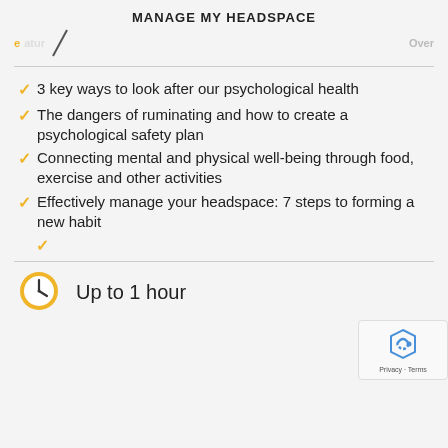MANAGE MY HEADSPACE
e [partially visible nav left]
[partially visible nav right]
3 key ways to look after our psychological health
The dangers of ruminating and how to create a psychological safety plan
Connecting mental and physical well-being through food, exercise and other activities
Effectively manage your headspace: 7 steps to forming a new habit
Up to 1 hour